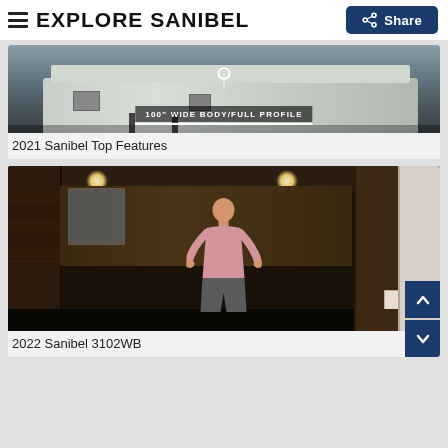EXPLORE SANIBEL
[Figure (screenshot): RV exterior showing wide body fifth wheel with label '100" WIDE BODY/FULL PROFILE']
2021 Sanibel Top Features
[Figure (screenshot): Interior of RV with man in pink shirt standing with arms outstretched, showing wood cabinet interior]
2022 Sanibel 3102WB